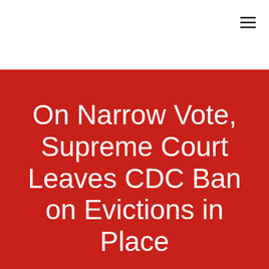[Figure (photo): Red-toned background image partially visible behind the header, blending into the red background section below]
On Narrow Vote, Supreme Court Leaves CDC Ban on Evictions in Place